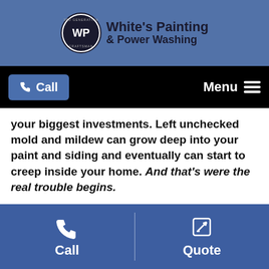[Figure (logo): White's Painting & Power Washing logo with WP initials in oval badge and company name text]
Call
Menu
your biggest investments. Left unchecked mold and mildew can grow deep into your paint and siding and eventually can start to creep inside your home. And that's were the real trouble begins.
The good news is having your house or business power washed by a professional as periodic maintenance is economical, safe and efficient .
Call
Quote